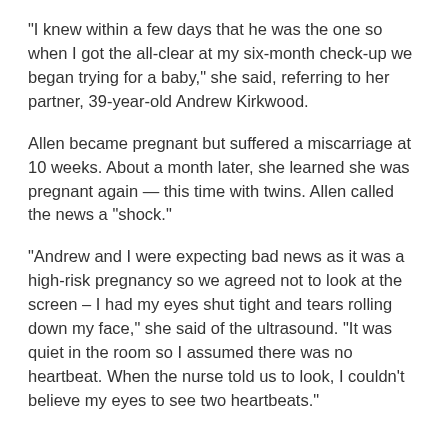"I knew within a few days that he was the one so when I got the all-clear at my six-month check-up we began trying for a baby," she said, referring to her partner, 39-year-old Andrew Kirkwood.
Allen became pregnant but suffered a miscarriage at 10 weeks. About a month later, she learned she was pregnant again — this time with twins. Allen called the news a "shock."
"Andrew and I were expecting bad news as it was a high-risk pregnancy so we agreed not to look at the screen – I had my eyes shut tight and tears rolling down my face," she said of the ultrasound. "It was quiet in the room so I assumed there was no heartbeat. When the nurse told us to look, I couldn't believe my eyes to see two heartbeats."